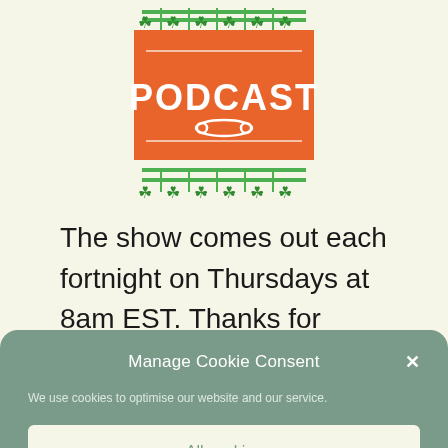[Figure (logo): Podcast logo with orange background showing 'PODCAST' text in white block letters, surrounded by green shamrocks/clovers and green decorative border elements on a light yellow background]
The show comes out each fortnight on Thursdays at 8am EST. Thanks for
[Figure (screenshot): Cookie consent popup overlay with teal/sage green background. Title: 'Manage Cookie Consent' with an X close button. Body text: 'We use cookies to optimise our website and our service.' Button: 'All cookies' (light background). Below: 'Deny' text button.]